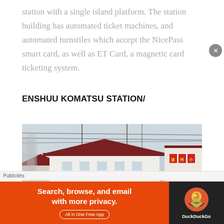station with a single island platform. The station building has automated ticket machines, and automated turnstiles which accept the NicePass smart card, as well as ET Card, a magnetic card ticketing system.
ENSHUU KOMATSU STATION/
[Figure (photo): Photograph of Enshuu Komatsu Station building exterior showing a white building with a dark red/maroon roof, power lines in the background, and Japanese signage on the building facade.]
Publicités
[Figure (screenshot): DuckDuckGo advertisement banner with orange background reading 'Search, browse, and email with more privacy. All in One Free App' with DuckDuckGo logo on dark background on the right side.]